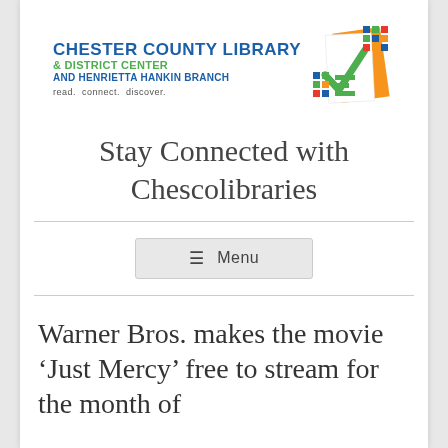[Figure (logo): Chester County Library & District Center and Henrietta Hankin Branch logo with colorful geometric book icon and tagline 'read. connect. discover.']
Stay Connected with Chescolibraries
≡ Menu
Warner Bros. makes the movie 'Just Mercy' free to stream for the month of